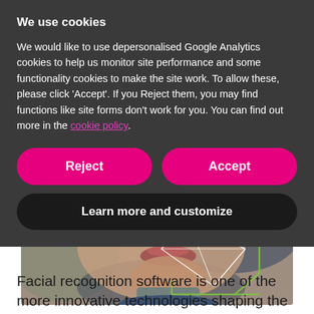We use cookies
We would like to use depersonalised Google Analytics cookies to help us monitor site performance and some functionality cookies to make the site work. To allow these, please click 'Accept'. If you Reject them, you may find functions like site forms don't work for you. You can find out more in the cookie policy.
Reject
Accept
Learn more and customize
[Figure (photo): Close-up photo of a person's lower face with facial recognition overlay lines forming geometric shapes around the mouth and chin area, with a green bracket overlay. A blurred progress bar UI element is visible in the upper left.]
Facial recognition software is one of the more innovative technologies shaping the way